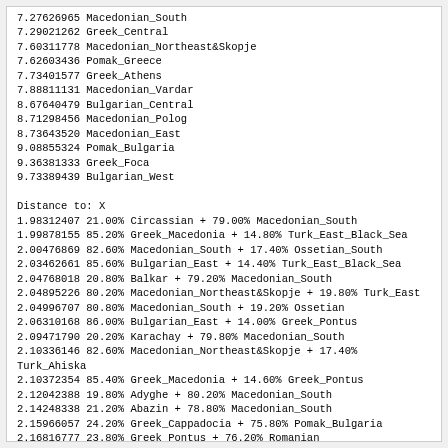7.27626965 Macedonian_South
7.29021262 Greek_Central
7.60311778 Macedonian_Northeast&Skopje
7.62603436 Pomak_Greece
7.73401577 Greek_Athens
7.88811131 Macedonian_Vardar
8.67640479 Bulgarian_Central
8.71298456 Macedonian_Polog
8.73643520 Macedonian_East
9.08855324 Pomak_Bulgaria
9.36381333 Greek_Foca
9.73389439 Bulgarian_West
Distance to: X
1.98312407 21.00% Circassian + 79.00% Macedonian_South
1.99878155 85.20% Greek_Macedonia + 14.80% Turk_East_Black_Sea
2.00476869 82.60% Macedonian_South + 17.40% Ossetian_South
2.03462661 85.60% Bulgarian_East + 14.40% Turk_East_Black_Sea
2.04768018 20.80% Balkar + 79.20% Macedonian_South
2.04895226 80.20% Macedonian_Northeast&Skopje + 19.80% Turk_East
2.04996707 80.80% Macedonian_South + 19.20% Ossetian
2.06310168 86.00% Bulgarian_East + 14.00% Greek_Pontus
2.09471790 20.20% Karachay + 79.80% Macedonian_South
2.10336146 82.60% Macedonian_Northeast&Skopje + 17.40% Turk_Ahiska
2.10372354 85.40% Greek_Macedonia + 14.60% Greek_Pontus
2.12042388 19.80% Adyghe + 80.20% Macedonian_South
2.14248338 21.20% Abazin + 78.80% Macedonian_South
2.15966057 24.20% Greek_Cappadocia + 75.80% Pomak_Bulgaria
2.16816777 23.80% Greek_Pontus + 76.20% Romanian
2.17577338 86.20% Greek_Macedonia + 13.80% Hemshin
2.18014360 27.20% Greek_Cappadocia + 72.80% Moldovan_South
2.18090281 22.40% Greek_Pontus + 77.60% Moldovan_South
2.18398336 80.80% Bulgarian_Central + 19.20% Greek_Pontus
2.18707551 82.80% Macedonian_Northeast&Skopje + 17.20% Turk_East_Black_Sea
2.19211402 86.40% Greek_Macedonia + 13.60% Laz
2.19499624 16.00% Abkhazian + 84.00% Macedonian_South